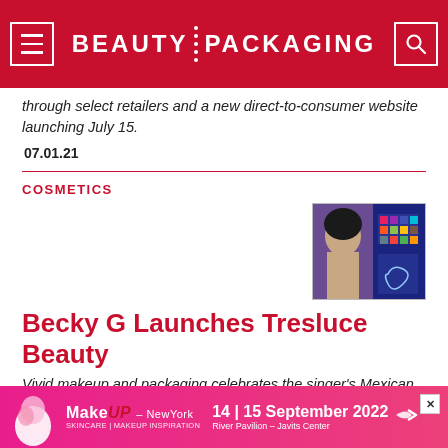BEAUTY PACKAGING
through select retailers and a new direct-to-consumer website launching July 15.
07.01.21
COSMETICS
[Figure (photo): Becky G makeup product launch photo showing woman with colorful eyeshadow palette]
Becky G Launches Tresluce Beauty
Vivid makeup and packaging celebrates the singer's Mexican heritage
[Figure (infographic): MakeUp In NewYork advertisement banner: 14 | 15 September 2022, River Pavilion - Javits Center]